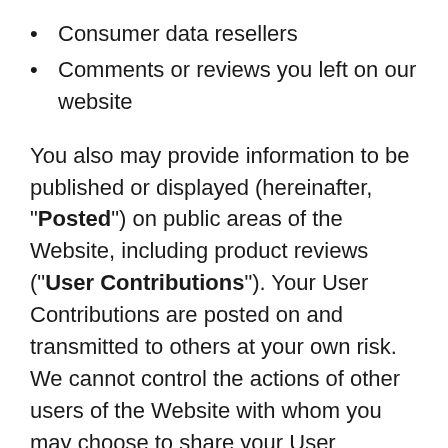Consumer data resellers
Comments or reviews you left on our website
You also may provide information to be published or displayed (hereinafter, "Posted") on public areas of the Website, including product reviews ("User Contributions"). Your User Contributions are posted on and transmitted to others at your own risk. We cannot control the actions of other users of the Website with whom you may choose to share your User Contributions. Therefore, we cannot and do not guarantee that your User Contributions